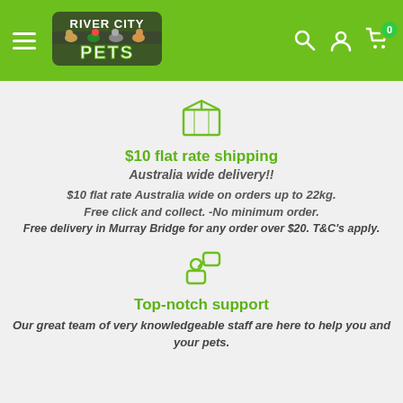[Figure (logo): River City Pets logo with animals on green header background]
[Figure (illustration): Green outlined package/box icon]
$10 flat rate shipping
Australia wide delivery!!
$10 flat rate Australia wide on orders up to 22kg.
Free click and collect. -No minimum order.
Free delivery in Murray Bridge for any order over $20. T&C's apply.
[Figure (illustration): Green outlined person with speech bubble / support icon]
Top-notch support
Our great team of very knowledgeable staff are here to help you and your pets.